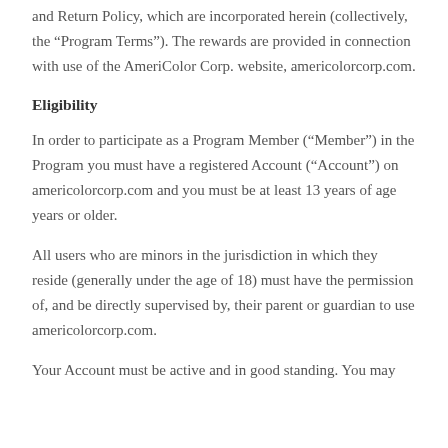and Return Policy, which are incorporated herein (collectively, the “Program Terms”). The rewards are provided in connection with use of the AmeriColor Corp. website, americolorcorp.com.
Eligibility
In order to participate as a Program Member (“Member”) in the Program you must have a registered Account (“Account”) on americolorcorp.com and you must be at least 13 years of age years or older.
All users who are minors in the jurisdiction in which they reside (generally under the age of 18) must have the permission of, and be directly supervised by, their parent or guardian to use americolorcorp.com.
Your Account must be active and in good standing. You may